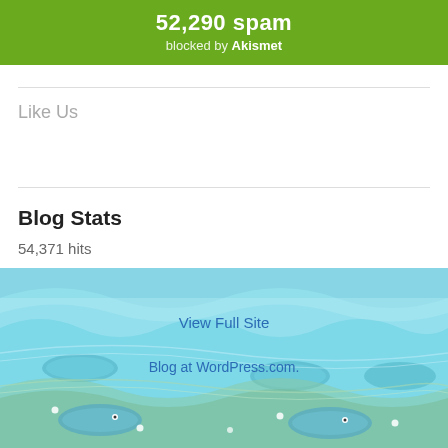[Figure (infographic): Green Akismet spam blocked banner showing '52,290 spam blocked by Akismet']
Like Us
Blog Stats
54,371 hits
View Full Site
Blog at WordPress.com.